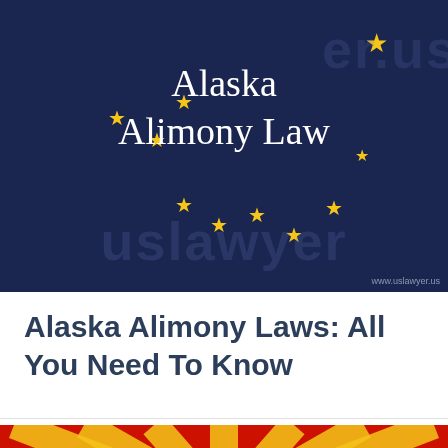[Figure (illustration): Dark navy blue banner with gold stars arranged like the Alaska state flag, showing white serif text 'Alaska Alimony Law' overlaid with a faint watermark reading 'uslawyer.us'. Small text 'www.uslawyer.us' appears in the bottom right corner.]
Alaska Alimony Laws: All You Need To Know
[Figure (illustration): Bottom strip showing a red and yellow sunburst / radial pattern in red and yellow colors, partially visible at the bottom of the page.]